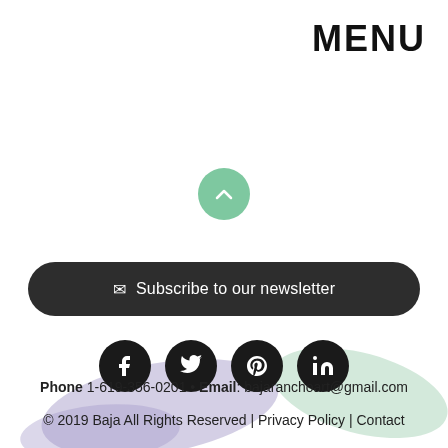MENU
[Figure (other): Green circular scroll-to-top button with upward chevron arrow]
✉ Subscribe to our newsletter
[Figure (other): Four social media icons (Facebook, Twitter, Pinterest, LinkedIn) as dark circles on white background, with watercolor art paint splash decoration below]
Phone 1-619-356-0201 • Email: bajaranchoart@gmail.com
© 2019 Baja All Rights Reserved | Privacy Policy | Contact